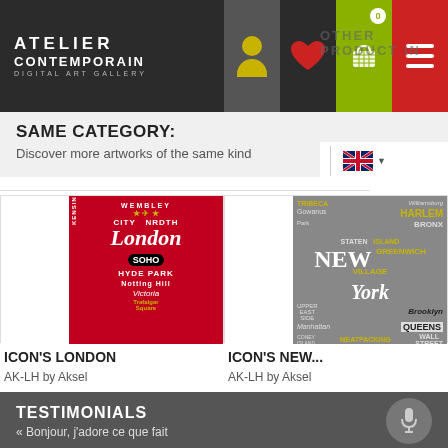ATELIER CONTEMPORAIN DIGITAL ART GALLERY
SAME CATEGORY:
Discover more artworks of the same kind
[Figure (illustration): London themed typographic poster with red background featuring London place names: Wembley, London, Soho, Hyde Park, Kensington, Victoria, Camden]
ICON'S LONDON
AK-LH by Aksel
[Figure (illustration): New York themed typographic poster with grey background featuring NYC neighborhood names: Tribeca, Harlem, Bronx, Staten Island, New York, Queens, Brooklyn, Manhattan, Meatpacking, Wall Street]
ICON'S NEW...
AK-LH by Aksel
TESTIMONIALS
« Bonjour, j'adore ce que fait Sophie Griello...